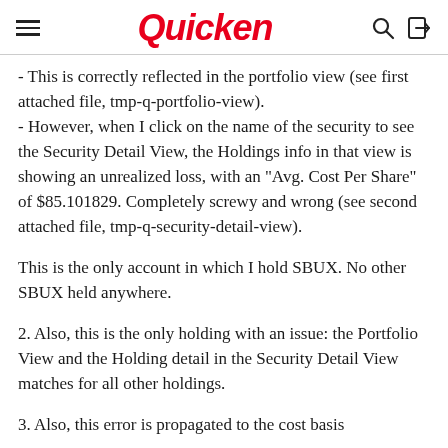Quicken
- This is correctly reflected in the portfolio view (see first attached file, tmp-q-portfolio-view).
- However, when I click on the name of the security to see the Security Detail View, the Holdings info in that view is showing an unrealized loss, with an "Avg. Cost Per Share" of $85.101829. Completely screwy and wrong (see second attached file, tmp-q-security-detail-view).
This is the only account in which I hold SBUX. No other SBUX held anywhere.
2. Also, this is the only holding with an issue: the Portfolio View and the Holding detail in the Security Detail View matches for all other holdings.
3. Also, this error is propagated to the cost basis